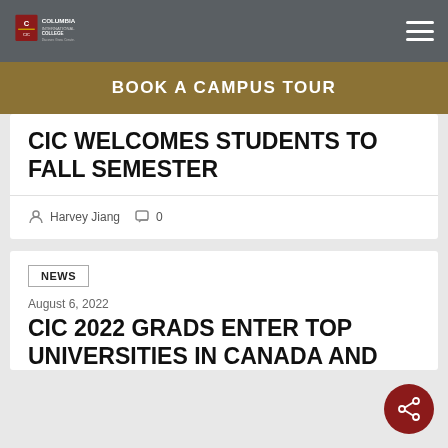COLUMBIA INTERNATIONAL COLLEGE
BOOK A CAMPUS TOUR
CIC WELCOMES STUDENTS TO FALL SEMESTER
Harvey Jiang  0
NEWS
August 6, 2022
CIC 2022 GRADS ENTER TOP UNIVERSITIES IN CANADA AND